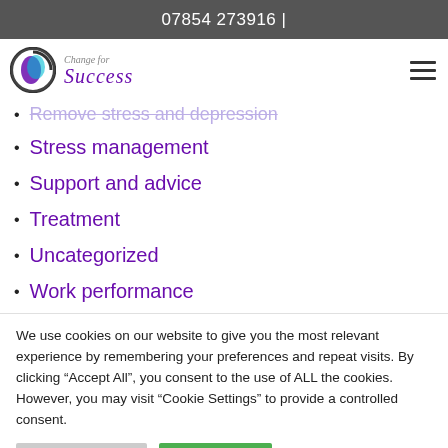07854 273916 |
[Figure (logo): Change for Success logo with circular icon and cursive brand name]
Remove stress and depression (faded/strikethrough)
Stress management
Support and advice
Treatment
Uncategorized
Work performance
We use cookies on our website to give you the most relevant experience by remembering your preferences and repeat visits. By clicking “Accept All”, you consent to the use of ALL the cookies. However, you may visit “Cookie Settings” to provide a controlled consent.
Cookie Settings | Accept All